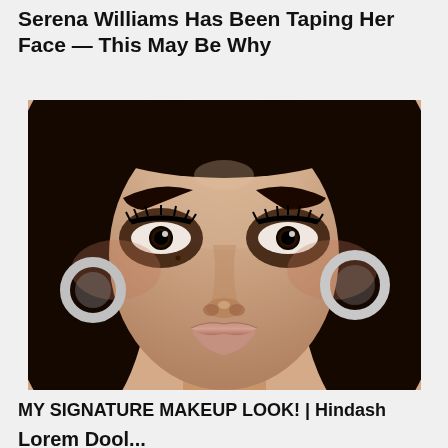Serena Williams Has Been Taping Her Face — This May Be Why
[Figure (photo): Close-up portrait of a young woman with heavy glamour makeup including dramatic smoky eye shadow, thick arched eyebrows, long lashes, neutral lip color, and silver hoop earrings. Long dark hair.]
MY SIGNATURE MAKEUP LOOK! | Hindash
Lorem Dool...